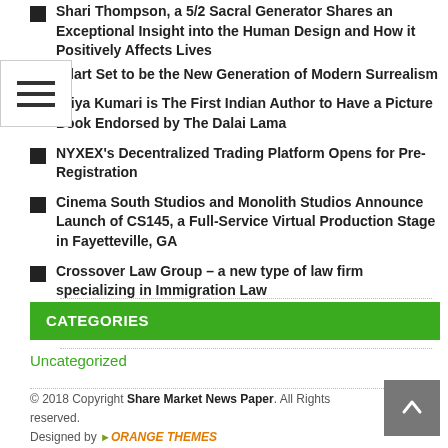[Figure (other): Hamburger menu icon with three horizontal lines]
Shari Thompson, a 5/2 Sacral Generator Shares an Exceptional Insight into the Human Design and How it Positively Affects Lives
urlart Set to be the New Generation of Modern Surrealism
Priya Kumari is The First Indian Author to Have a Picture Book Endorsed by The Dalai Lama
NYXEX's Decentralized Trading Platform Opens for Pre-Registration
Cinema South Studios and Monolith Studios Announce Launch of CS145, a Full-Service Virtual Production Stage in Fayetteville, GA
Crossover Law Group – a new type of law firm specializing in Immigration Law
CATEGORIES
Uncategorized
© 2018 Copyright Share Market News Paper. All Rights reserved. Designed by ORANGE THEMES